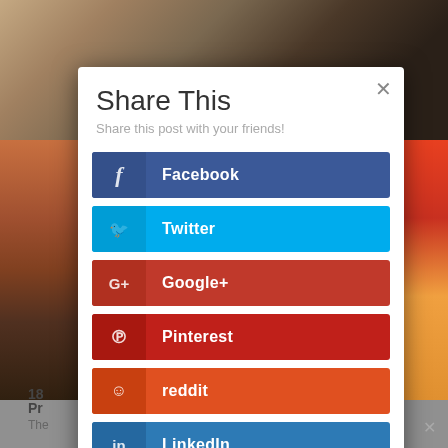[Figure (screenshot): Background showing a restaurant/food photo with blurred exterior and food images on sides]
Share This
Share this post with your friends!
Facebook
Twitter
Google+
Pinterest
reddit
LinkedIn
18
Pr
The